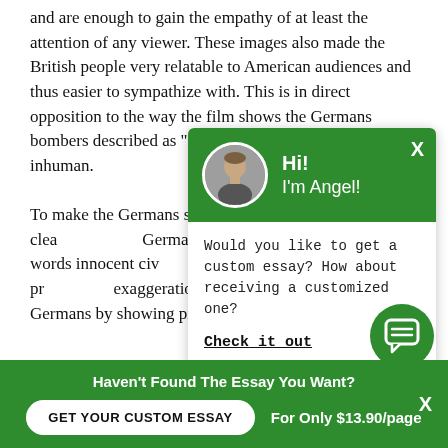and are enough to gain the empathy of at least the attention of any viewer. These images also made the British people very relatable to American audiences and thus easier to sympathize with. This is in direct opposition to the way the film shows the Germans bombers described as "c... back to their own shores... inhuman.
To make the Germans se... and film crews were clea... German bombers, being ... other words innocent civ... example of emotional pr... exaggeration. The film al... Germans by showing pictures such as bombed ou...
[Figure (screenshot): Chat popup with green header showing avatar of a man named Angel, greeting 'Hi! I'm Angel!', with message 'Would you like to get a custom essay? How about receiving a customized one?' and a 'Check it out' link.]
[Figure (screenshot): Floating green circular chat icon button in the bottom right.]
Haven't Found The Essay You Want?
GET YOUR CUSTOM ESSAY
For Only $13.90/page